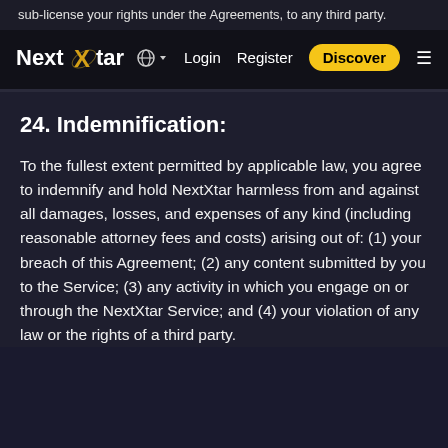sub-license your rights under the Agreements, to any third party.
[Figure (logo): NextXtar logo with stylized X in gold/yellow on dark background]
Globe icon | Login | Register | Discover | hamburger menu
24. Indemnification:
To the fullest extent permitted by applicable law, you agree to indemnify and hold NextXtar harmless from and against all damages, losses, and expenses of any kind (including reasonable attorney fees and costs) arising out of: (1) your breach of this Agreement; (2) any content submitted by you to the Service; (3) any activity in which you engage on or through the NextXtar Service; and (4) your violation of any law or the rights of a third party.